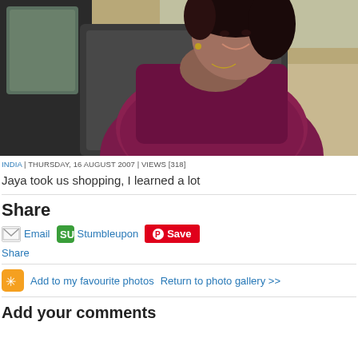[Figure (photo): Woman in a maroon/purple sari sitting in the back seat of a vehicle, smiling at camera. Background shows car interior and outdoor scene.]
INDIA | THURSDAY, 16 AUGUST 2007 | VIEWS [318]
Jaya took us shopping, I learned a lot
Share
Email  Stumbleupon  Save
Share
Add to my favourite photos   Return to photo gallery >>
Add your comments